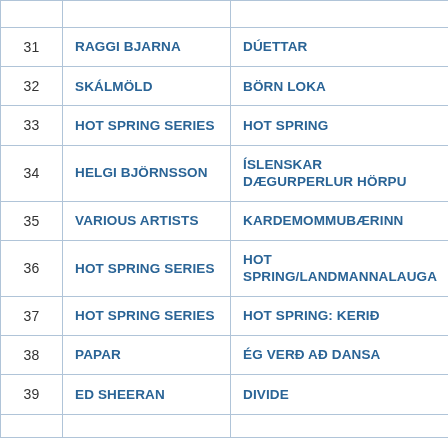| # | Artist | Album |
| --- | --- | --- |
| 31 | RAGGI BJARNA | DÚETTAR |
| 32 | SKÁLMÖLD | BÖRN LOKA |
| 33 | HOT SPRING SERIES | HOT SPRING |
| 34 | HELGI BJÖRNSSON | ÍSLENSKAR DÆGURPERLUR HÖRPU |
| 35 | VARIOUS ARTISTS | KARDEMOMMUBÆRINN |
| 36 | HOT SPRING SERIES | HOT SPRING/LANDMANNALAUGA |
| 37 | HOT SPRING SERIES | HOT SPRING: KERIÐ |
| 38 | PAPAR | ÉG VERÐ AÐ DANSA |
| 39 | ED SHEERAN | DIVIDE |